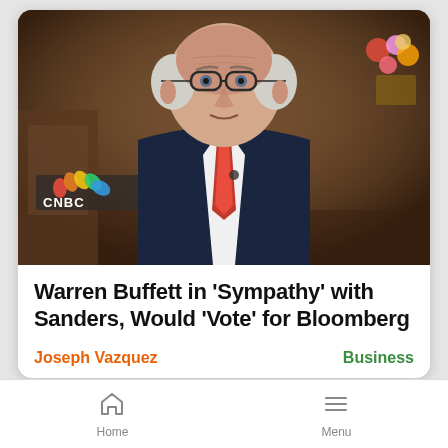[Figure (photo): Warren Buffett in a dark navy suit with red tie being interviewed on CNBC, seated in a studio setting with wood-toned furniture and a CNBC logo visible in the background]
Warren Buffett in ‘Sympathy’ with Sanders, Would ‘Vote’ for Bloomberg
Joseph Vazquez
Business